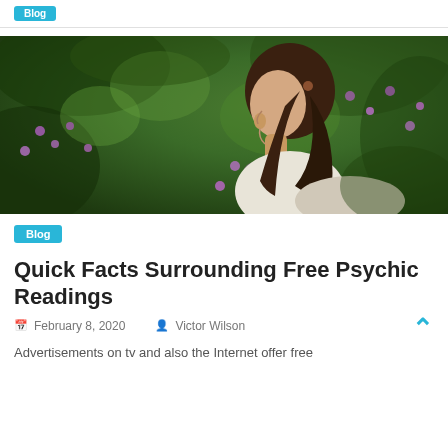[Figure (photo): Woman with eyes closed, face tilted upward, long brown hair, white top, against a background of green foliage and purple flowers]
Blog
Quick Facts Surrounding Free Psychic Readings
February 8, 2020   Victor Wilson
Advertisements on tv and also the Internet offer free